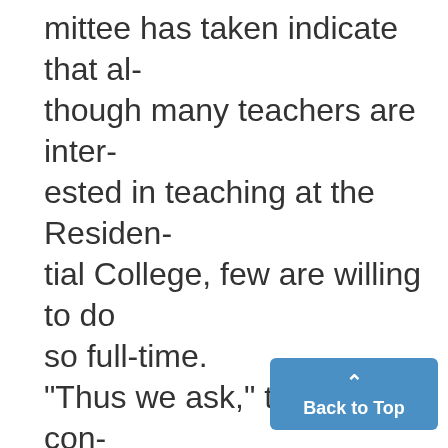mittee has taken indicate that although many teachers are interested in teaching at the Residential College, few are willing to do so full-time. "Thus we ask," the report continues, "what can we make out of a network of split and part-time appointments? How shall we define 'load' on the new campus? How can we get our faculty to mingle with the students on off hours and not retreat to the central campus? How do we handle a